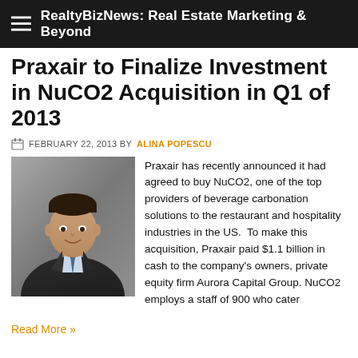RealtyBizNews: Real Estate Marketing & Beyond
Praxair to Finalize Investment in NuCO2 Acquisition in Q1 of 2013
FEBRUARY 22, 2013 BY ALINA POPESCU
[Figure (photo): Professional headshot of a man in a dark suit and tie]
Praxair has recently announced it had agreed to buy NuCO2, one of the top providers of beverage carbonation solutions to the restaurant and hospitality industries in the US.  To make this acquisition, Praxair paid $1.1 billion in cash to the company's owners, private equity firm Aurora Capital Group. NuCO2 employs a staff of 900 who cater
Read More »